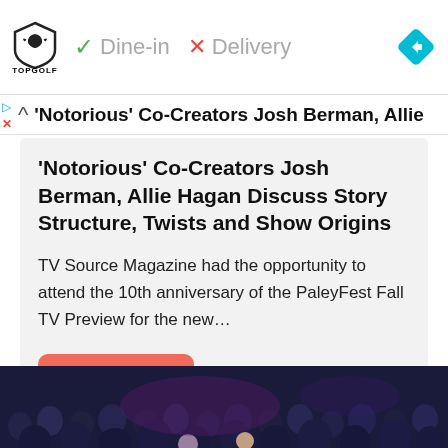[Figure (screenshot): Topgolf advertisement banner with logo, Dine-in checkmark, Delivery X mark, and blue navigation diamond icon]
'Notorious' Co-Creators Josh Berman, Allie Hagan Discuss Story Structure, Twists and Show Origins
TV Source Magazine had the opportunity to attend the 10th anniversary of the PaleyFest Fall TV Preview for the new…
Read more
[Figure (photo): Crowd of people in dark blue lighting at what appears to be a TV panel event]